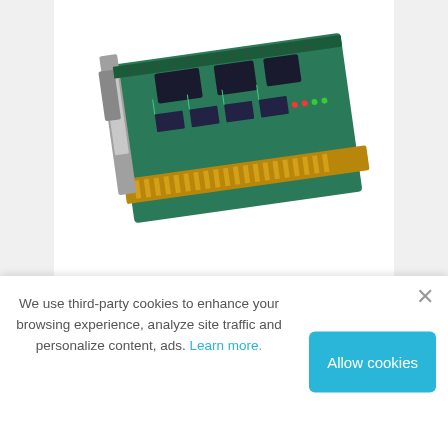[Figure (photo): Photo of Advantech PCIE-1761H-AE PCIe relay and digital input card, a green circuit board with connectors, partially cropped at top]
Advantech PCIE-1761H-AE
8-ch Relay and 8-ch Isolated Digital Input PCIe Card 8 opto-isolated digital input channels. 8 relay actuator output channels. Interrupt handling capability for all DI channels. Selectable Digital filter time for all DI channels. Output status readable. LED indicator to show activated relays. Selectable Form A or
We use third-party cookies to enhance your browsing experience, analyze site traffic and personalize content, ads. Learn more.